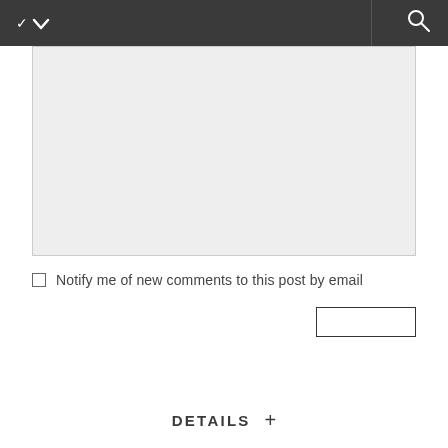[Figure (screenshot): Light gray text input/textarea area with border]
Notify me of new comments to this post by email
[Figure (screenshot): Empty submit button with border]
DETAILS +